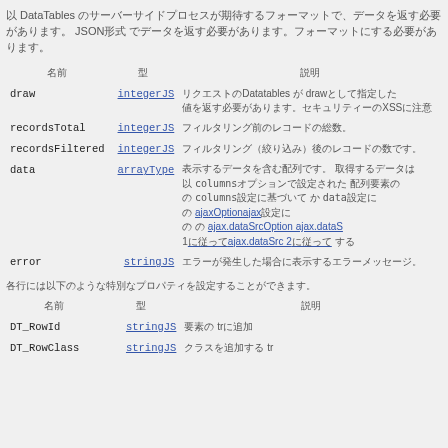以 DataTables のサーバーサイドプロセスが期待するフォーマットで JSON形式 でデータを返す必要があります。
| 名前 | 型 | 説明 |
| --- | --- | --- |
| draw | integerJS | DataTablesがdrawに指定した値で返す必要があります。クロスサイトスクリプティング（XSS）対策。 |
| recordsTotal | integerJS | フィルタリング前のレコード総数。 |
| recordsFiltered | integerJS | フィルタリング後のレコード数（フィルタリングなしの場合はrecordsTotalと同じ）。 |
| data | arrayType | 表に表示するデータ。 columnsオプションで設定された columns の設定 data に従って ajaxOptionajax の設定に従って ajax.dataSrcOption ajax.dataSrc 1 に従って ajax.dataSrc 2 に従って する。 |
| error | stringJS | エラーメッセージ（エラー発生時のみ）。 |
各行には以下のような特別なプロパティを設定することができます。
| 名前 | 型 | 説明 |
| --- | --- | --- |
| DT_RowId | stringJS | 要素の tr に追加。 |
| DT_RowClass | stringJS | クラスを追加する tr |